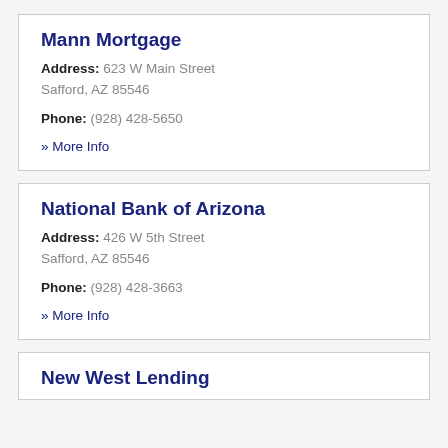Mann Mortgage
Address: 623 W Main Street
Safford, AZ 85546
Phone: (928) 428-5650
» More Info
National Bank of Arizona
Address: 426 W 5th Street
Safford, AZ 85546
Phone: (928) 428-3663
» More Info
New West Lending